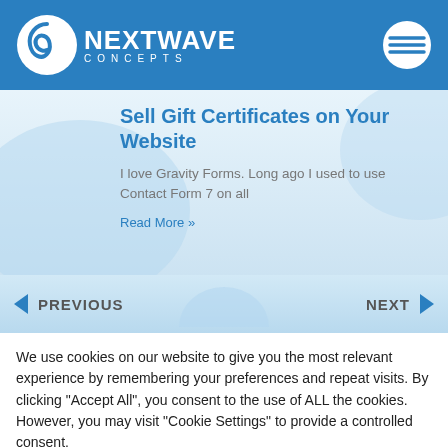NEXTWAVE CONCEPTS
Sell Gift Certificates on Your Website
I love Gravity Forms. Long ago I used to use Contact Form 7 on all
Read More »
PREVIOUS
NEXT
We use cookies on our website to give you the most relevant experience by remembering your preferences and repeat visits. By clicking "Accept All", you consent to the use of ALL the cookies. However, you may visit "Cookie Settings" to provide a controlled consent.
Cookie Settings
Accept All